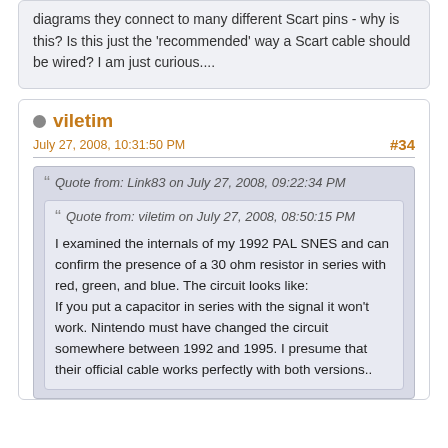diagrams they connect to many different Scart pins - why is this? Is this just the 'recommended' way a Scart cable should be wired? I am just curious....
viletim
July 27, 2008, 10:31:50 PM
#34
Quote from: Link83 on July 27, 2008, 09:22:34 PM
Quote from: viletim on July 27, 2008, 08:50:15 PM
I examined the internals of my 1992 PAL SNES and can confirm the presence of a 30 ohm resistor in series with red, green, and blue. The circuit looks like:
If you put a capacitor in series with the signal it won't work. Nintendo must have changed the circuit somewhere between 1992 and 1995. I presume that their official cable works perfectly with both versions..